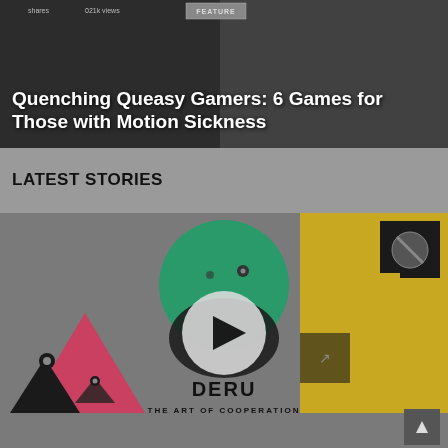[Figure (screenshot): Banner image showing a game scene with dark overlay. Feature badge visible at top. Shows article about motion sickness games.]
Quenching Queasy Gamers: 6 Games for Those with Motion Sickness
LATEST STORIES
[Figure (screenshot): Three game thumbnail images in a row. Left: red triangle mountain art (abstract game). Center: DERU - The Art of Cooperation with green circle bird and play button overlay, showing logo text 'DERU' and subtitle 'THE ART OF COOPERATION'. Right: yellow and black geometric shapes.]